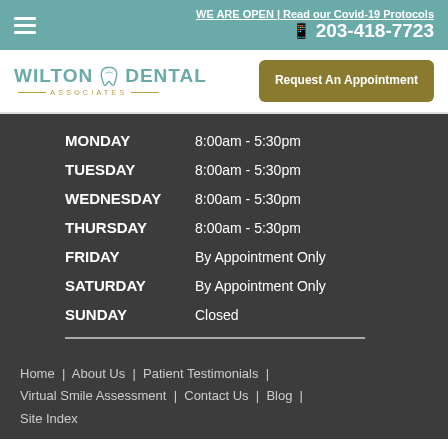WE ARE OPEN | Read our Covid-19 Protocols
📱 203-418-7723
[Figure (logo): Wilton Dental Associates logo with teal tooth icon]
Request An Appointment
| Day | Hours |
| --- | --- |
| MONDAY | 8:00am - 5:30pm |
| TUESDAY | 8:00am - 5:30pm |
| WEDNESDAY | 8:00am - 5:30pm |
| THURSDAY | 8:00am - 5:30pm |
| FRIDAY | By Appointment Only |
| SATURDAY | By Appointment Only |
| SUNDAY | Closed |
Home | About Us | Patient Testimonials | Virtual Smile Assessment | Contact Us | Blog | Site Index